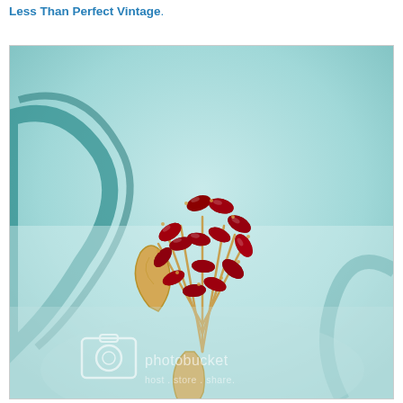Less Than Perfect Vintage.
[Figure (photo): Close-up photograph of a vintage gold-toned brooch with deep red marquise-cut rhinestones arranged in a floral/leaf cluster pattern, photographed against a light teal/aqua glass vase background. Photobucket watermark visible in lower portion of image.]